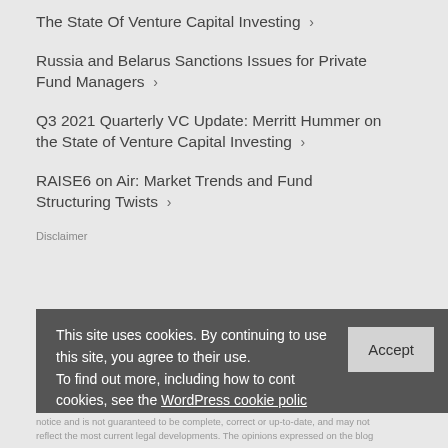The State Of Venture Capital Investing >
Russia and Belarus Sanctions Issues for Private Fund Managers >
Q3 2021 Quarterly VC Update: Merritt Hummer on the State of Venture Capital Investing >
RAISE6 on Air: Market Trends and Fund Structuring Twists >
Disclaimer
This site uses cookies. By continuing to use this site, you agree to their use. To find out more, including how to control cookies, see the WordPress cookie policy
notice and is not guaranteed to be complete, correct or up-to-date, and may not reflect the most current legal developments. The opinions expressed on the blog